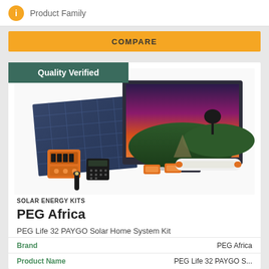Product Family
COMPARE
[Figure (photo): Solar energy kit product photo showing solar panel, TV with sunset landscape displayed, orange battery unit, LED tube light, small lights, and torch on white background. Quality Verified banner overlay.]
SOLAR ENERGY KITS
PEG Africa
PEG Life 32 PAYGO Solar Home System Kit
| Brand |  |
| --- | --- |
| Brand | PEG Africa |
| Product Name | PEG Life 32 PAYGO S... |
Brand: PEG Africa
Product Name: PEG Life 32 PAYGO S...